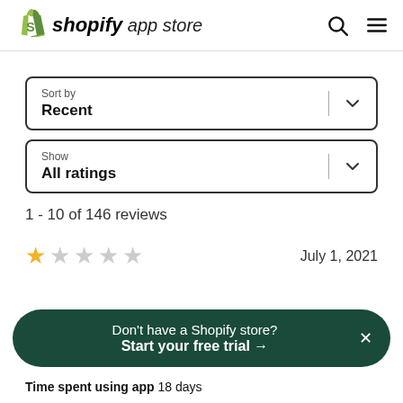shopify app store
Sort by
Recent
Show
All ratings
1 - 10 of 146 reviews
★☆☆☆☆  July 1, 2021
Don't have a Shopify store?
Start your free trial →
Time spent using app  18 days